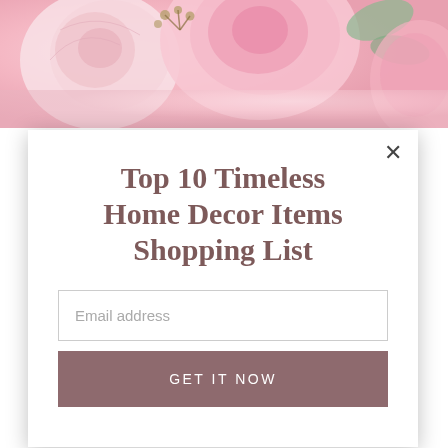[Figure (photo): Close-up photograph of pink and cream roses with greenery in the background]
Top 10 Timeless Home Decor Items Shopping List
Email address
GET IT NOW
There are moments during the newborn stage where you feel like you are only